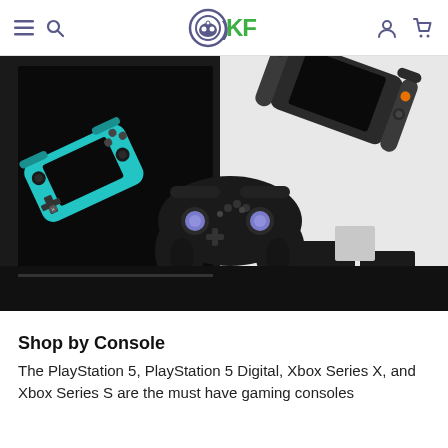OKF gaming accessories website header with navigation icons and logo
[Figure (photo): Hero product photo showing a teal Nintendo Switch Lite, a Nintendo Switch console with orange button in gray, and a black wireless controller with purple thumbstick caps, arranged on black and white geometric blocks against a dark background]
Shop by Console
The PlayStation 5, PlayStation 5 Digital, Xbox Series X, and Xbox Series S are the must have gaming consoles